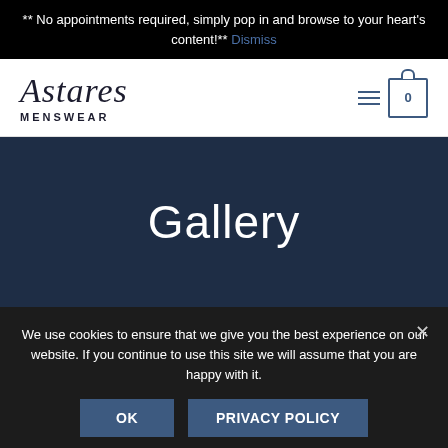** No appointments required, simply pop in and browse to your heart's content!** Dismiss
[Figure (logo): Astares Menswear logo in italic serif font with MENSWEAR in small caps below]
Gallery
We use cookies to ensure that we give you the best experience on our website. If you continue to use this site we will assume that you are happy with it.
OK   PRIVACY POLICY